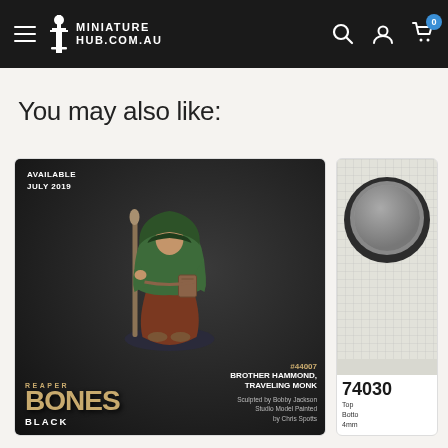MINIATURE HUB.COM.AU
You may also like:
[Figure (photo): Reaper Bones Black miniature #44007 Brother Hammond, Traveling Monk. Available July 2019. Sculpted by Bobby Jackson, Studio Model Painted by Chris Spotts.]
[Figure (photo): Miniature base product #74030 on grid background showing top view. Labels: Top, Bottom, 4mm]